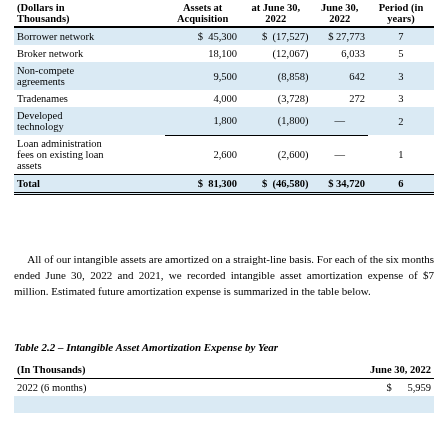| (Dollars in Thousands) | Assets at Acquisition | at June 30, 2022 | June 30, 2022 | Period (in years) |
| --- | --- | --- | --- | --- |
| Borrower network | $ 45,300 | $ (17,527) | $ 27,773 | 7 |
| Broker network | 18,100 | (12,067) | 6,033 | 5 |
| Non-compete agreements | 9,500 | (8,858) | 642 | 3 |
| Tradenames | 4,000 | (3,728) | 272 | 3 |
| Developed technology | 1,800 | (1,800) | — | 2 |
| Loan administration fees on existing loan assets | 2,600 | (2,600) | — | 1 |
| Total | $ 81,300 | $ (46,580) | $ 34,720 | 6 |
All of our intangible assets are amortized on a straight-line basis. For each of the six months ended June 30, 2022 and 2021, we recorded intangible asset amortization expense of $7 million. Estimated future amortization expense is summarized in the table below.
Table 2.2 – Intangible Asset Amortization Expense by Year
| (In Thousands) | June 30, 2022 |
| --- | --- |
| 2022 (6 months) | $ 5,959 |